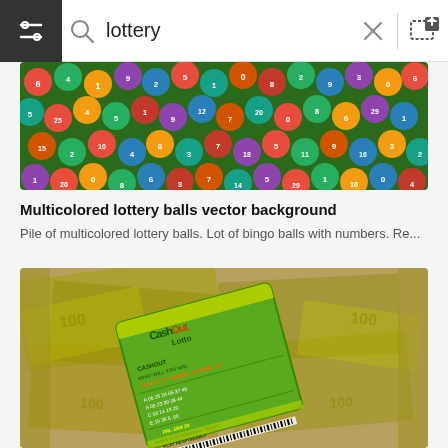lottery
[Figure (photo): Pile of multicolored lottery balls with numbers, colorful bingo balls against each other]
Multicolored lottery balls vector background
Pile of multicolored lottery balls. Lot of bingo balls with numbers. Re...
[Figure (photo): Green CashOut Lotto lottery ticket placed on top of US dollar bills, make a withdrawal today, play responsibly]